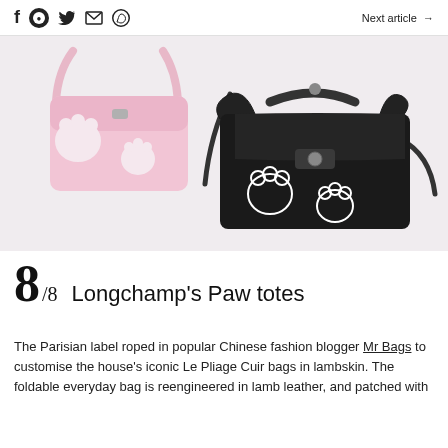Social icons (f, LINE, Twitter, Email, WhatsApp) | Next article →
[Figure (photo): Two Longchamp Le Pliage Cuir bags with paw print embellishments: one pink bag (top left) and one black bag (bottom right) on a light pink-grey background.]
8/8  Longchamp's Paw totes
The Parisian label roped in popular Chinese fashion blogger Mr Bags to customise the house's iconic Le Pliage Cuir bags in lambskin. The foldable everyday bag is reengineered in lamb leather, and patched with